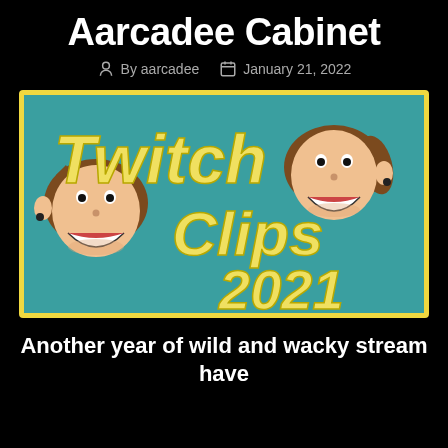Aarcadee Cabinet
By aarcadee   January 21, 2022
[Figure (illustration): Illustrated banner showing two cartoon grinning faces with brown hair, with yellow hand-drawn text reading 'Twitch Clips 2021' on a teal background with yellow border]
Another year of wild and wacky stream have